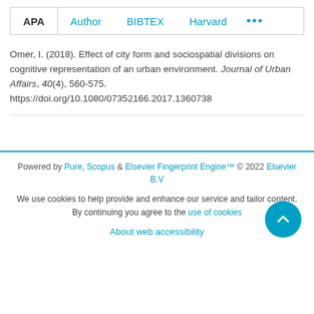APA  Author  BIBTEX  Harvard  ...
Omer, I. (2018). Effect of city form and sociospatial divisions on cognitive representation of an urban environment. Journal of Urban Affairs, 40(4), 560-575. https://doi.org/10.1080/07352166.2017.1360738
Powered by Pure, Scopus & Elsevier Fingerprint Engine™ © 2022 Elsevier B.V
We use cookies to help provide and enhance our service and tailor content. By continuing you agree to the use of cookies
About web accessibility